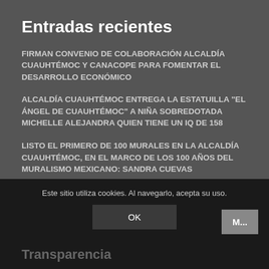Entradas recientes
FIRMAN CONVENIO DE COLABORACIÓN ALCALDÍA CUAUHTÉMOC Y CANACOPE PARA FOMENTAR EL DESARROLLO ECONÓMICO
ALCALDÍA CUAUHTÉMOC ENTREGA LA ESTATUILLA "EL ÁNGEL DE CUAUHTÉMOC" A NIÑA SOBREDOTADA MICHELLE ALEJANDRA QUIEN TIENE UN IQ DE 158
LISTO EL PRIMERO DE 100 MURALES EN LA ALCALDÍA CUAUHTÉMOC, EN EL MARCO DE LOS 100 AÑOS DEL MURALISMO MEXICANO: SANDRA CUEVAS
Este sitio utiliza cookies. Al navegarlo, acepta su uso.
OK
M...
Transparencia